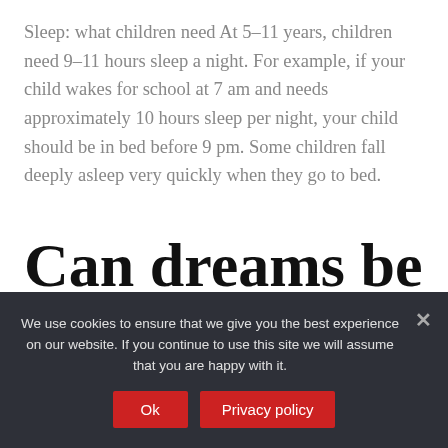Sleep: what children need At 5-11 years, children need 9-11 hours sleep a night. For example, if your child wakes for school at 7 am and needs approximately 10 hours sleep per night, your child should be in bed before 9 pm. Some children fall deeply asleep very quickly when they go to bed.
Can dreams be true?
Some experts suggest that dreams may include
We use cookies to ensure that we give you the best experience on our website. If you continue to use this site we will assume that you are happy with it.